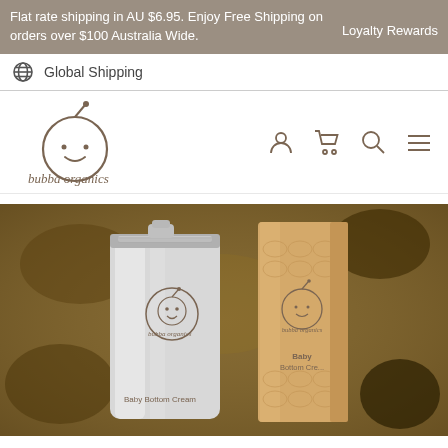Flat rate shipping in AU $6.95. Enjoy Free Shipping on orders over $100 Australia Wide.    Loyalty Rewards
Global Shipping
[Figure (logo): Bubba Organics logo: cartoon baby face with antenna, text 'bubba organics' below]
[Figure (photo): Product photo of Bubba Organics Baby Bottom Cream tube (silver) and box (gold/tan) on a textured dark gold background]